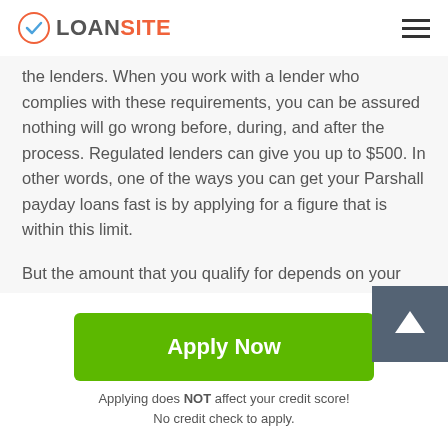LOANSITE
the lenders. When you work with a lender who complies with these requirements, you can be assured nothing will go wrong before, during, and after the process. Regulated lenders can give you up to $500. In other words, one of the ways you can get your Parshall payday loans fast is by applying for a figure that is within this limit.
But the amount that you qualify for depends on your ability to repay in time. The state requires lenders to put into consideration a range of factors before approving the applications. Some of these are the value of your upcoming check and the reliability of your source of income.
Apply Now
Applying does NOT affect your credit score!
No credit check to apply.